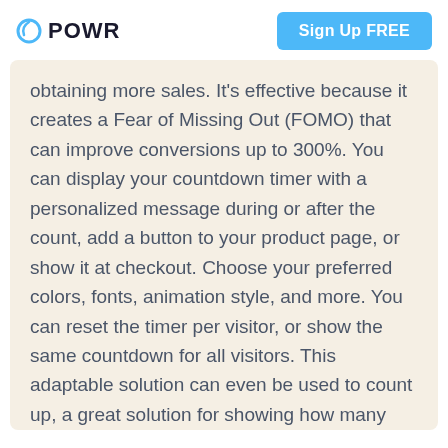POWR | Sign Up FREE
obtaining more sales. It's effective because it creates a Fear of Missing Out (FOMO) that can improve conversions up to 300%. You can display your countdown timer with a personalized message during or after the count, add a button to your product page, or show it at checkout. Choose your preferred colors, fonts, animation style, and more. You can reset the timer per visitor, or show the same countdown for all visitors. This adaptable solution can even be used to count up, a great solution for showing how many people are looking at or have purchased an item. Learn more about POWR Countdown Timer for Microweber here.